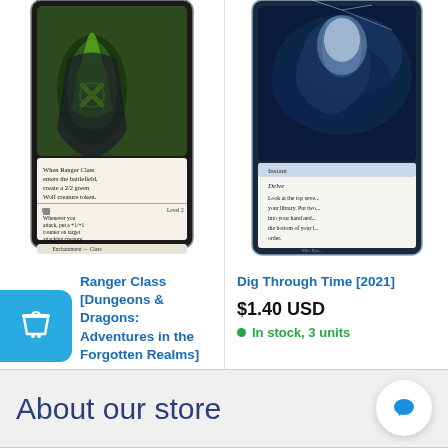[Figure (photo): Magic: The Gathering card - Ranger Class from Dungeons & Dragons: Adventures in the Forgotten Realms, showing an enchantment class card with green creature art and class level text]
Ranger Class [Dungeons & Dragons: Adventures in the Forgotten Realms]
$0.50 USD
Only 1 unit left
[Figure (photo): Magic: The Gathering card - Dig Through Time from 2021, showing a blue instant card with delve mechanic, partially cropped]
Dig Through Time [2021]
$1.40 USD
In stock, 3 units
About our store